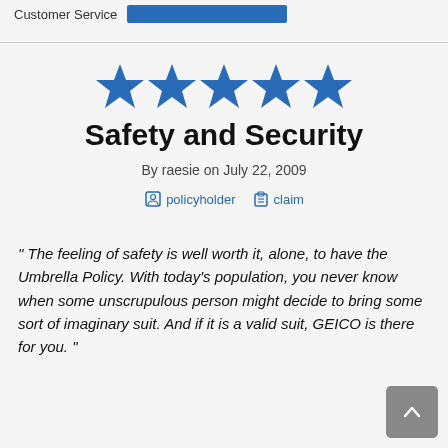Customer Service
[Figure (other): Five blue star rating icons displayed in a row]
Safety and Security
By raesie on July 22, 2009
policyholder  claim
" The feeling of safety is well worth it, alone, to have the Umbrella Policy. With today's population, you never know when some unscrupulous person might decide to bring some sort of imaginary suit. And if it is a valid suit, GEICO is there for you. "